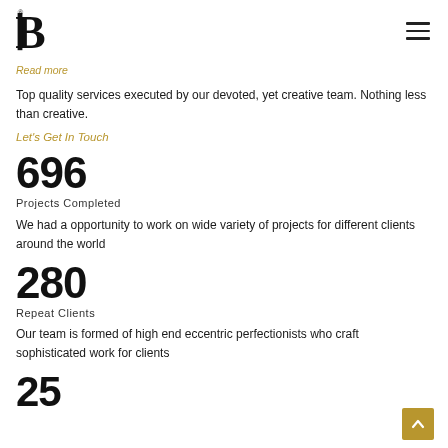B logo and hamburger menu
Read more
Top quality services executed by our devoted, yet creative team. Nothing less than creative.
Let's Get In Touch
696
Projects Completed
We had a opportunity to work on wide variety of projects for different clients around the world
280
Repeat Clients
Our team is formed of high end eccentric perfectionists who craft sophisticated work for clients
25